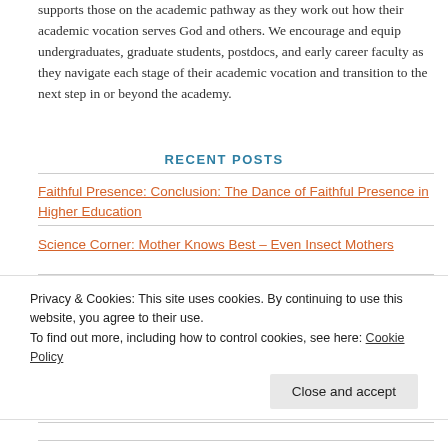supports those on the academic pathway as they work out how their academic vocation serves God and others. We encourage and equip undergraduates, graduate students, postdocs, and early career faculty as they navigate each stage of their academic vocation and transition to the next step in or beyond the academy.
RECENT POSTS
Faithful Presence: Conclusion: The Dance of Faithful Presence in Higher Education
Science Corner: Mother Knows Best – Even Insect Mothers
Privacy & Cookies: This site uses cookies. By continuing to use this website, you agree to their use.
To find out more, including how to control cookies, see here: Cookie Policy
Close and accept
ARTICLE CATEGORIES